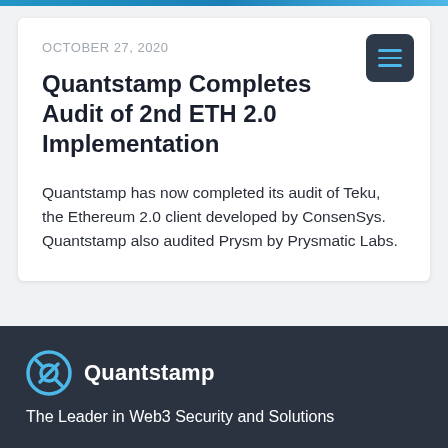OCTOBER 27, 2020
Quantstamp Completes Audit of 2nd ETH 2.0 Implementation
Quantstamp has now completed its audit of Teku, the Ethereum 2.0 client developed by ConsenSys. Quantstamp also audited Prysm by Prysmatic Labs.
[Figure (logo): Quantstamp logo with circular Q icon in blue and company name in white, on dark background. Tagline: The Leader in Web3 Security and Solutions]